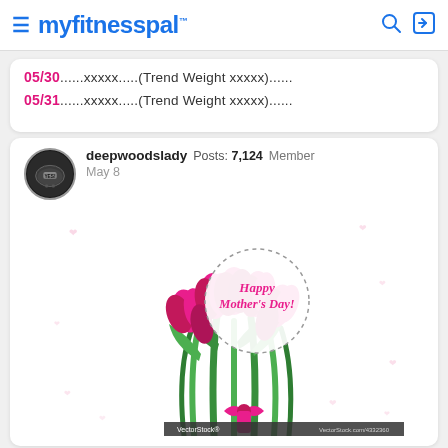myfitnesspal
05/30......xxxxx.....(Trend Weight xxxxx)......
05/31......xxxxx.....(Trend Weight xxxxx)......
deepwoodslady  Posts: 7,124  Member
May 8
[Figure (illustration): Happy Mother's Day illustration with pink tulips bouquet tied with a pink ribbon, and a circular badge with dotted border saying 'Happy Mother's Day!' in cursive script. VectorStock watermark at bottom.]